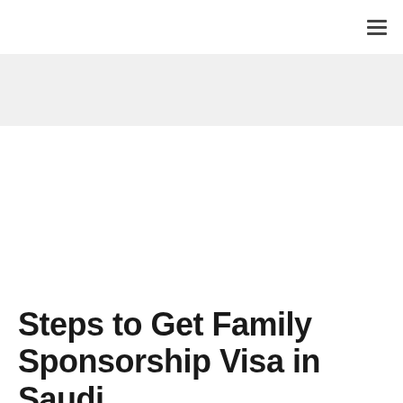≡
[Figure (other): Light gray banner/advertisement area at top of webpage]
Steps to Get Family Sponsorship Visa in Saudi